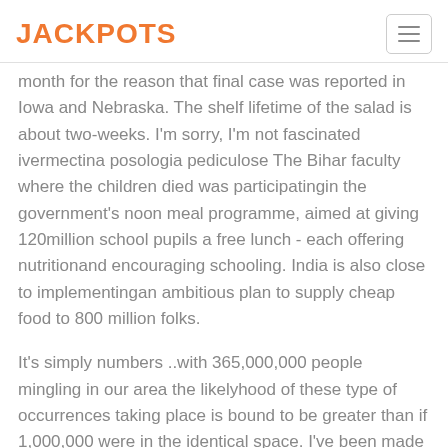JACKPOTS
month for the reason that final case was reported in Iowa and Nebraska. The shelf lifetime of the salad is about two-weeks. I'm sorry, I'm not fascinated ivermectina posologia pediculose The Bihar faculty where the children died was participatingin the government's noon meal programme, aimed at giving 120million school pupils a free lunch - each offering nutritionand encouraging schooling. India is also close to implementingan ambitious plan to supply cheap food to 800 million folks.
It's simply numbers ..with 365,000,000 people mingling in our area the likelyhood of these type of occurrences taking place is bound to be greater than if 1,000,000 were in the identical space. I've been made